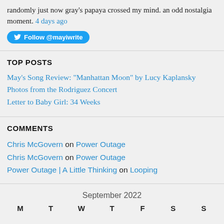randomly just now gray's papaya crossed my mind. an odd nostalgia moment. 4 days ago
[Figure (other): Twitter Follow @mayiwrite button]
TOP POSTS
May's Song Review: "Manhattan Moon" by Lucy Kaplansky
Photos from the Rodriguez Concert
Letter to Baby Girl: 34 Weeks
COMMENTS
Chris McGovern on Power Outage
Chris McGovern on Power Outage
Power Outage | A Little Thinking on Looping
September 2022
M T W T F S S